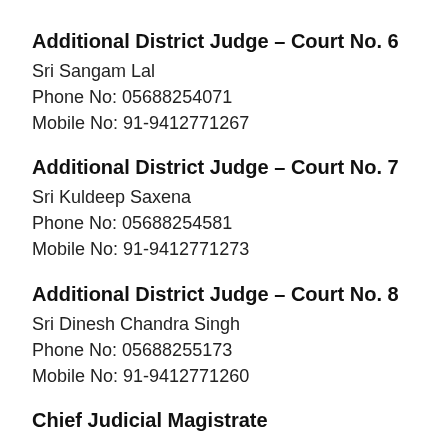Additional District Judge – Court No. 6
Sri Sangam Lal
Phone No: 05688254071
Mobile No: 91-9412771267
Additional District Judge – Court No. 7
Sri Kuldeep Saxena
Phone No: 05688254581
Mobile No: 91-9412771273
Additional District Judge – Court No. 8
Sri Dinesh Chandra Singh
Phone No: 05688255173
Mobile No: 91-9412771260
Chief Judicial Magistrate